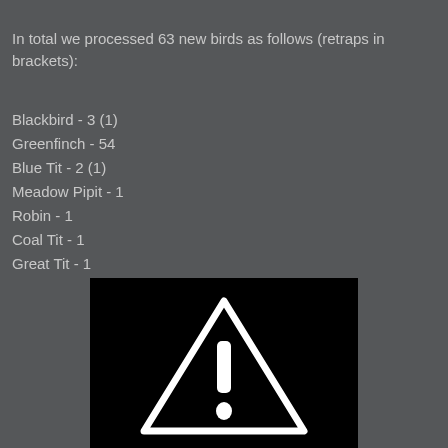In total we processed 63 new birds as follows (retraps in brackets):
Blackbird - 3 (1)
Greenfinch - 54
Blue Tit - 2 (1)
Meadow Pipit - 1
Robin - 1
Coal Tit - 1
Great Tit - 1
[Figure (photo): Black image with a white warning triangle (exclamation mark) icon indicating an unavailable or broken image]